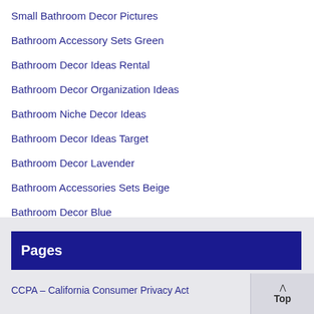Small Bathroom Decor Pictures
Bathroom Accessory Sets Green
Bathroom Decor Ideas Rental
Bathroom Decor Organization Ideas
Bathroom Niche Decor Ideas
Bathroom Decor Ideas Target
Bathroom Decor Lavender
Bathroom Accessories Sets Beige
Bathroom Decor Blue
Pages
CCPA – California Consumer Privacy Act